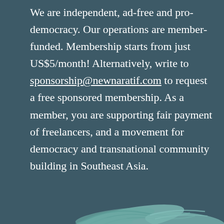We are independent, ad-free and pro-democracy. Our operations are member-funded. Membership starts from just US$5/month! Alternatively, write to sponsorship@newnaratif.com to request a free sponsored membership. As a member, you are supporting fair payment of freelancers, and a movement for democracy and transnational community building in Southeast Asia.
[Figure (illustration): Partial illustration of hands or a bird/feather motif at the bottom of the page, in a muted teal/mint color against the dark teal background.]